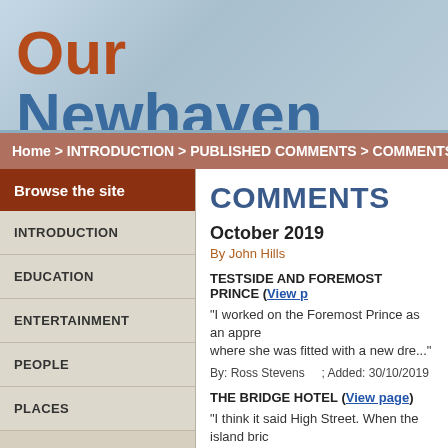Our Newhaven
Your memories, your photos, your comments
Home > INTRODUCTION > PUBLISHED COMMENTS > COMMENTS
Browse the site
INTRODUCTION
EDUCATION
ENTERTAINMENT
PEOPLE
PLACES
COMMENTS
October 2019
By John Hills
TESTSIDE AND FOREMOST PRINCE (View page)
"I worked on the Foremost Prince as an appre where she was fitted with a new dre..."
By: Ross Stevens    ; Added: 30/10/2019
THE BRIDGE HOTEL (View page)
"I think it said High Street. When the island bric